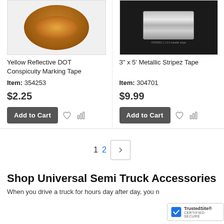[Figure (photo): Brown reflective DOT tape roll product image]
Yellow Reflective DOT Conspicuity Marking Tape
Item: 354253
$2.25
[Figure (photo): 3 inch x 5 foot Metallic Stripez Tape on black background packaging]
3" x 5' Metallic Stripez Tape
Item: 304701
$9.99
1  2  >
Shop Universal Semi Truck Accessories
When you drive a truck for hours day after day, you n... little things you don't like about it. T...